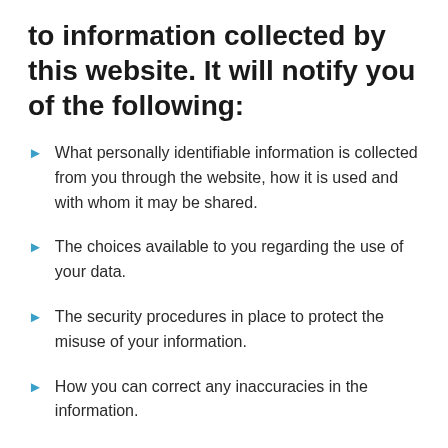to information collected by this website. It will notify you of the following:
What personally identifiable information is collected from you through the website, how it is used and with whom it may be shared.
The choices available to you regarding the use of your data.
The security procedures in place to protect the misuse of your information.
How you can correct any inaccuracies in the information.
Information Collection, Use, and Sharing
We are the sole owners of the information collected on